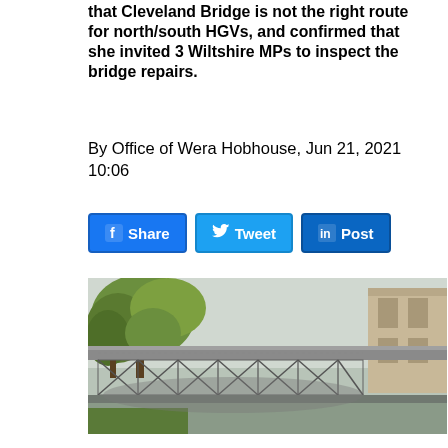that Cleveland Bridge is not the right route for north/south HGVs, and confirmed that she invited 3 Wiltshire MPs to inspect the bridge repairs.
By Office of Wera Hobhouse, Jun 21, 2021 10:06
[Figure (other): Social media sharing buttons: Facebook Share, Twitter Tweet, LinkedIn Post]
[Figure (photo): Photograph of Cleveland Bridge showing the iron truss bridge structure with green trees on the left and a stone building on the right]
At a public meeting on Thursday evening 17th June, Bath MP Wera Hobhouse stated that Cleveland Bridge is not the right route for north/south HGVs, and confirmed that she invited 3 Wiltshire